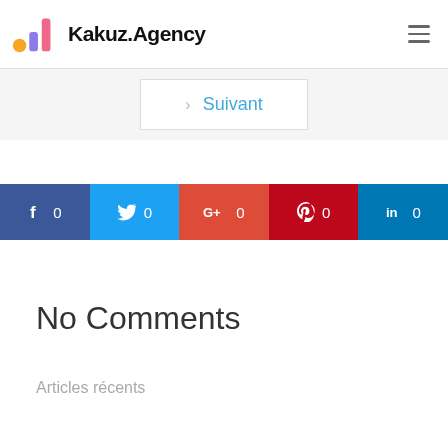Kakuz.Agency
Suivant
[Figure (infographic): Social share bar with Facebook (0), Twitter (0), Google+ (0), Pinterest (0), LinkedIn (0)]
No Comments
Articles récents